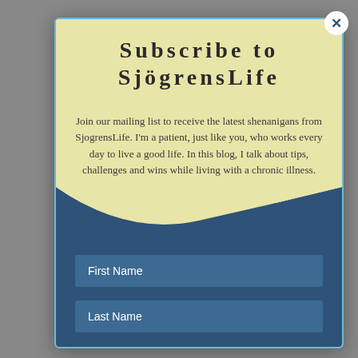Subscribe to SjögrensLife
Join our mailing list to receive the latest shenanigans from SjogrensLife. I'm a patient, just like you, who works every day to live a good life. In this blog, I talk about tips, challenges and wins while living with a chronic illness.
First Name
Last Name